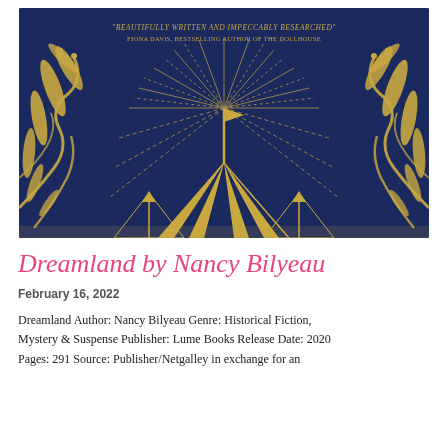[Figure (illustration): Book cover of 'Dreamland by Nancy Bilyeau'. Dark navy blue background with gold art nouveau decorative wings on left and right sides. Central image shows a large circus tent with a flag on top, surrounded by radiating gold lines suggesting a sunburst or spotlight effect. Quote at top reads: '"BEAUTIFULLY WRITTEN AND IMPECCABLY RESEARCHED" FIONA DAVIS, BESTSELLING AUTHOR OF THE DOLLHOUSE']
Dreamland by Nancy Bilyeau
February 16, 2022
Dreamland Author: Nancy Bilyeau Genre: Historical Fiction, Mystery & Suspense Publisher: Lume Books Release Date: 2020 Pages: 291 Source: Publisher/Netgalley in exchange for an